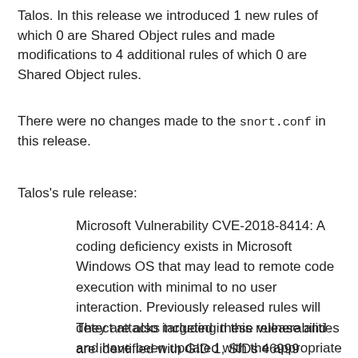Talos. In this release we introduced 1 new rules of which 0 are Shared Object rules and made modifications to 4 additional rules of which 0 are Shared Object rules.
There were no changes made to the snort.conf in this release.
Talos's rule release:
Microsoft Vulnerability CVE-2018-8414: A coding deficiency exists in Microsoft Windows OS that may lead to remote code execution with minimal to no user interaction. Previously released rules will detect attacks targeting these vulnerabilities and have been updated with the appropriate reference information.
They are also included in this release and are identified with GID 1, SIDs 46999 through 47002. Talos also has added and modified multiple rules...